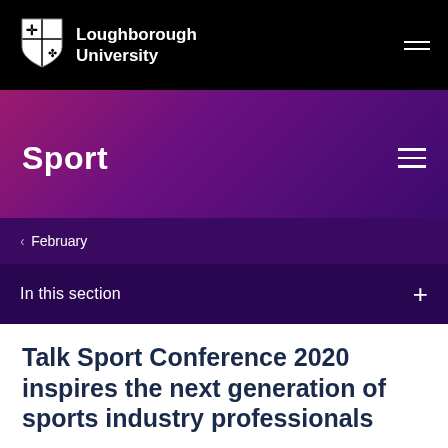Loughborough University
Sport
< February
In this section
Talk Sport Conference 2020 inspires the next generation of sports industry professionals
7 February 2020
General news